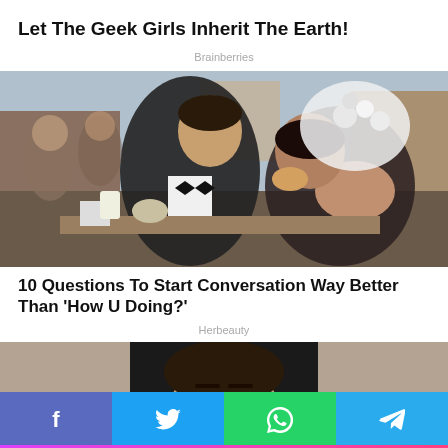Let The Geek Girls Inherit The Earth!
Brainberries
[Figure (photo): A groom in a tuxedo and bride in a wedding dress and veil eating food at an outdoor restaurant table, with urban street scene in background.]
10 Questions To Start Conversation Way Better Than 'How U Doing?'
Herbeauty
[Figure (photo): Partial view of a person's face, cropped at the top of the page.]